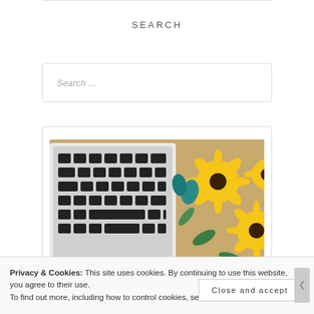SEARCH
Search …
[Figure (photo): Overhead view of a MacBook keyboard next to yellow black-eyed Susan flowers in a wooden tray]
Privacy & Cookies: This site uses cookies. By continuing to use this website, you agree to their use.
To find out more, including how to control cookies, see here: Cookie Policy
Close and accept